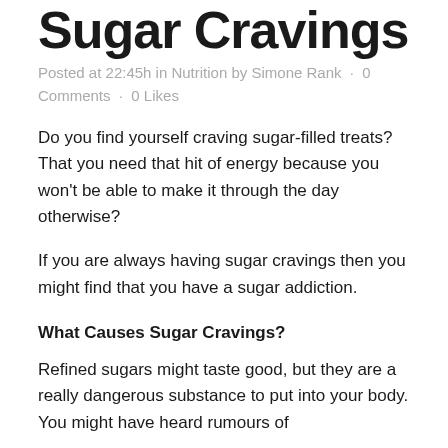Sugar Cravings
Posted at 22:45h in Nutrition by Simone Rank · 0 Comments · 0 Likes
Do you find yourself craving sugar-filled treats? That you need that hit of energy because you won't be able to make it through the day otherwise?
If you are always having sugar cravings then you might find that you have a sugar addiction.
What Causes Sugar Cravings?
Refined sugars might taste good, but they are a really dangerous substance to put into your body. You might have heard rumours of